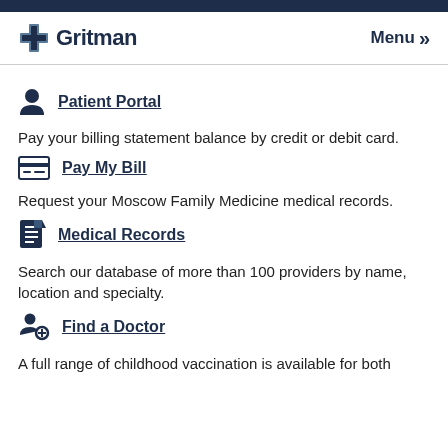Gritman — Menu
Patient Portal
Pay your billing statement balance by credit or debit card.
Pay My Bill
Request your Moscow Family Medicine medical records.
Medical Records
Search our database of more than 100 providers by name, location and specialty.
Find a Doctor
A full range of childhood vaccination is available for both